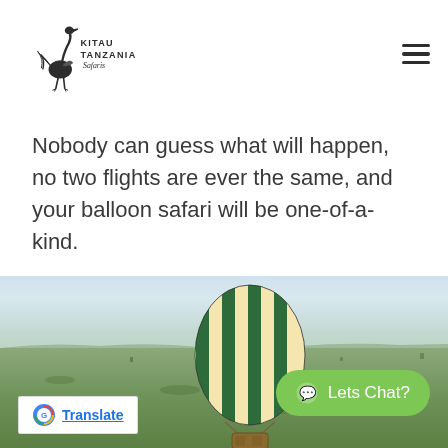[Figure (logo): Kitau Tanzania Safaris logo with ostrich illustration and text]
Nobody can guess what will happen, no two flights are ever the same, and your balloon safari will be one-of-a-kind.
[Figure (photo): Aerial view of a hot air balloon with green and cream stripes floating over the vast Tanzanian savanna grasslands]
[Figure (other): WhatsApp Lets Chat? button (green rounded button)]
[Figure (other): Google Translate button]